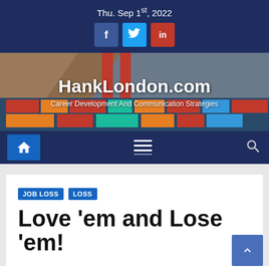Thu. Sep 1st, 2022
[Figure (screenshot): Social media icons: Facebook (blue), Twitter (light blue), LinkedIn (red)]
HankLondon.com
Career Development And Communication Strategies
[Figure (infographic): Navigation bar with home icon, hamburger menu, and search icon on dark blue background]
JOB LOSS  LOSS
Love ‘em and Lose ‘em!